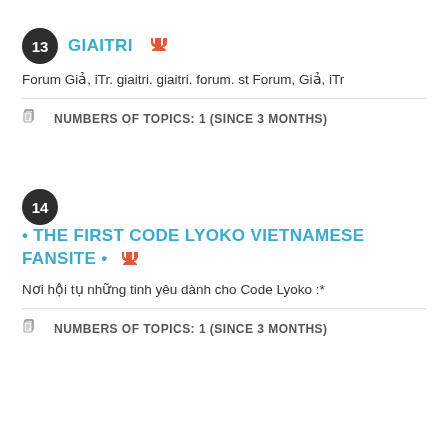13 GIAITRI
Forum Giả, iTr. giaitri. giaitri. forum. st Forum, Giả, iTr
NUMBERS OF TOPICS: 1 (SINCE 3 MONTHS)
14 • THE FIRST CODE LYOKO VIETNAMESE FANSITE •
Nơi hội tụ những tinh yêu dành cho Code Lyoko :*
NUMBERS OF TOPICS: 1 (SINCE 3 MONTHS)